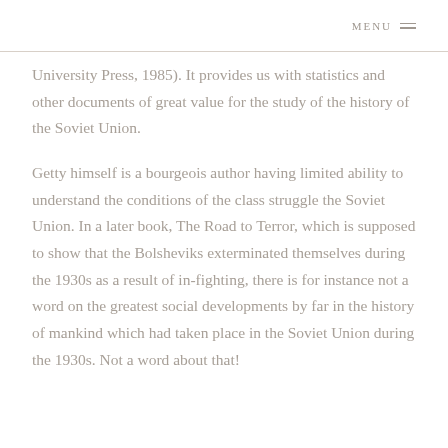MENU
University Press, 1985). It provides us with statistics and other documents of great value for the study of the history of the Soviet Union.
Getty himself is a bourgeois author having limited ability to understand the conditions of the class struggle the Soviet Union. In a later book, The Road to Terror, which is supposed to show that the Bolsheviks exterminated themselves during the 1930s as a result of in-fighting, there is for instance not a word on the greatest social developments by far in the history of mankind which had taken place in the Soviet Union during the 1930s. Not a word about that!